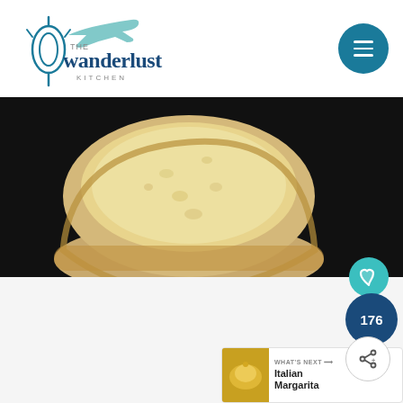[Figure (logo): The Wanderlust Kitchen logo with whisk and airplane graphic, teal and green colors]
[Figure (photo): Close-up photo of a slice of white bread on a dark background]
176
WHAT'S NEXT → Italian Margarita